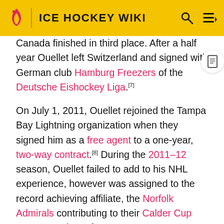ICE HOCKEY WIKI
Canada finished in third place. After a half year Ouellet left Switzerland and signed with German club Hamburg Freezers of the Deutsche Eishockey Liga.[7]
On July 1, 2011, Ouellet rejoined the Tampa Bay Lightning organization when they signed him as a free agent to a one-year, two-way contract.[8] During the 2011–12 season, Ouellet failed to add to his NHL experience, however was assigned to the record achieving affiliate, the Norfolk Admirals contributing to their Calder Cup success. Prior to free agency on June 23, 2012, Ouellet was traded by the Lightning to the Boston Bruins, along with a 5th round draft pick, for Benoit Pouliot.[9]
Released as a free agent by the Bruins, Ouellet accepted